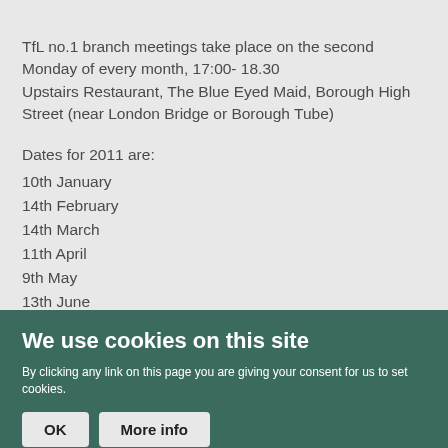TfL no.1 branch meetings take place on the second Monday of every month, 17:00- 18.30
Upstairs Restaurant, The Blue Eyed Maid, Borough High Street (near London Bridge or Borough Tube)
Dates for 2011 are:
10th January
14th February
14th March
11th April
9th May
13th June
11th July
We use cookies on this site
By clicking any link on this page you are giving your consent for us to set cookies.